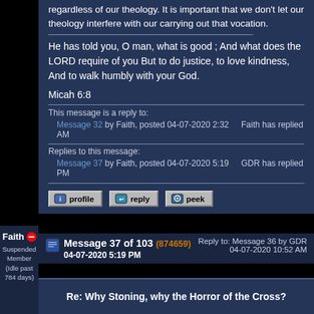regardless of our theology. It is important that we don't let our theology interfere with our carrying out that vocation.
He has told you, O man, what is good ; And what does the LORD require of you But to do justice, to love kindness, And to walk humbly with your God.
Micah 6:8
This message is a reply to:
Message 32 by Faith, posted 04-07-2020 2:32 AM
Faith has replied
Replies to this message:
Message 37 by Faith, posted 04-07-2020 5:19 PM
GDR has replied
Faith
Suspended Member (Idle past 784 days)
Message 37 of 103 (874659) 04-07-2020 5:19 PM
Reply to: Message 36 by GDR 04-07-2020 10:52 AM
Re: Why Stoning, why the Horror of the Cross?